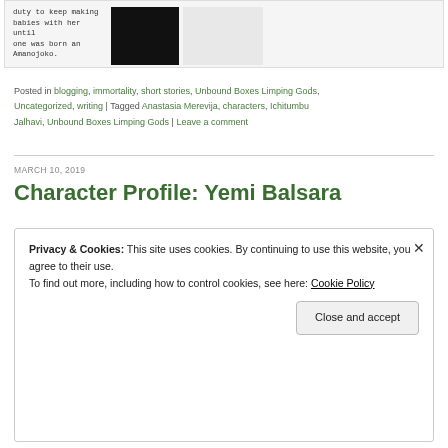[Figure (screenshot): Partial view of a blog post snippet showing monospace text about 'duty to keep making babies with her until one was born an Amanojoko.' and a black-and-white portrait photo.]
Posted in blogging, immortality, short stories, Unbound Boxes Limping Gods, Uncategorized, writing | Tagged Anastasia Merevija, characters, Ichitumbu Jalhavi, Unbound Boxes Limping Gods | Leave a comment
MARCH 10, 2019
Character Profile: Yemi Balsara
Privacy & Cookies: This site uses cookies. By continuing to use this website, you agree to their use.
To find out more, including how to control cookies, see here: Cookie Policy